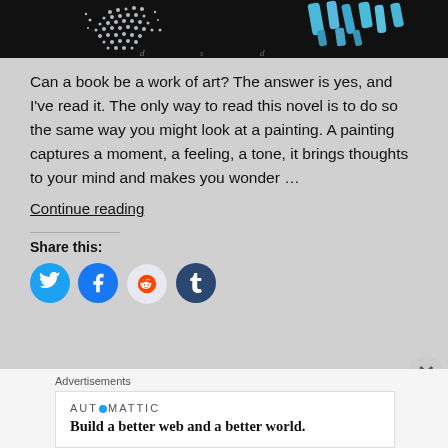[Figure (photo): Dark artistic book cover image with dot pattern figure and blue brush strokes on black background]
Can a book be a work of art? The answer is yes, and I've read it. The only way to read this novel is to do so the same way you might look at a painting. A painting captures a moment, a feeling, a tone, it brings thoughts to your mind and makes you wonder …
Continue reading
Share this:
[Figure (infographic): Social share icons: Twitter (blue), Facebook (blue), Reddit (light), Tumblr (dark blue)]
Advertisements
[Figure (screenshot): Automattic advertisement: Build a better web and a better world.]